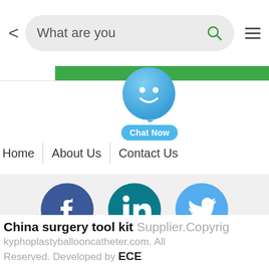[Figure (screenshot): Mobile browser screenshot showing a search bar with 'What are you' text, a green navigation bar, a chat now button, Home/About Us/Contact Us navigation, Facebook/LinkedIn/Twitter social icons, and a footer with 'China surgery tool kit Supplier.Copyright kyphoplastyballooncatheter.com. All Rights Reserved. Developed by ECE']
China surgery tool kit Supplier.Copyright kyphoplastyballooncatheter.com. All Rights Reserved. Developed by ECE